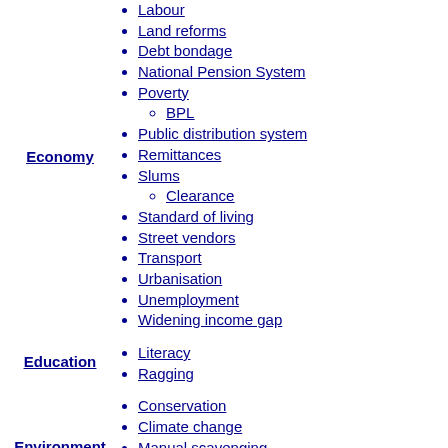Economy
Labour
Land reforms
Debt bondage
National Pension System
Poverty
BPL
Public distribution system
Remittances
Slums
Clearance
Standard of living
Street vendors
Transport
Urbanisation
Unemployment
Widening income gap
Education
Literacy
Ragging
Environment
Conservation
Climate change
Manual scavenging
Natural disasters
Water supply and sanitation